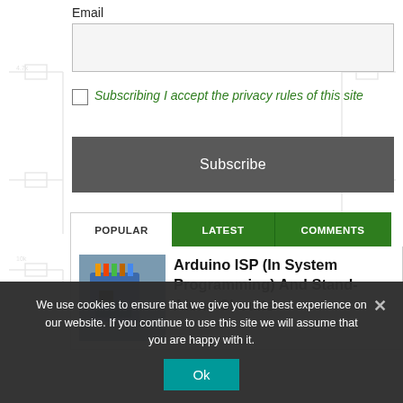Email
Subscribing I accept the privacy rules of this site
Subscribe
POPULAR | LATEST | COMMENTS
Arduino ISP (In System Programming) And Stand-Alone Circuits
We use cookies to ensure that we give you the best experience on our website. If you continue to use this site we will assume that you are happy with it.
Ok